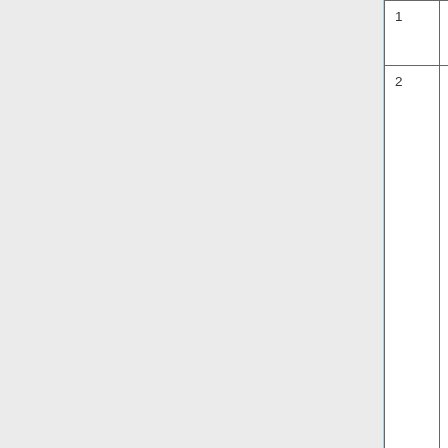| # | Name | Description |
| --- | --- | --- |
| 1 | nothing | Header |
| 2 | WVSELECT | Specify wavelength the aer optical propert three wavele be outp wavele should entered with a s betwee entry. T specifie wavele used fo Fast-JX |